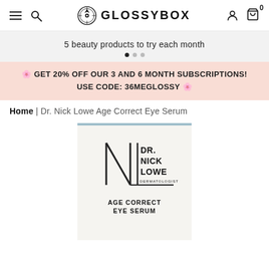GLOSSYBOX navigation header with hamburger menu, search, logo, user icon, and cart (0)
5 beauty products to try each month
🌸 GET 20% OFF OUR 3 AND 6 MONTH SUBSCRIPTIONS! USE CODE: 36MEGLOSSY 🌸
Home | Dr. Nick Lowe Age Correct Eye Serum
[Figure (photo): Dr. Nick Lowe Age Correct Eye Serum product box — cream/beige colored box with geometric angular logo and text 'DR. NICK LOWE DERMATOLOGIST', with 'AGE CORRECT EYE SERUM' printed at the bottom.]